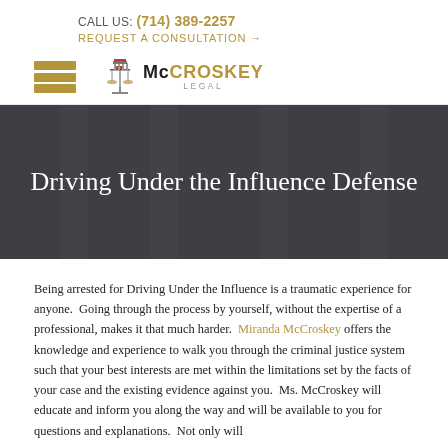CALL US: (714) 389-2257
REQUEST A CONSULTATION →
[Figure (logo): McCROSKEY LEGAL logo with scales of justice icon, hamburger menu icon to the left]
Driving Under the Influence Defense
Being arrested for Driving Under the Influence is a traumatic experience for anyone.  Going through the process by yourself, without the expertise of a professional, makes it that much harder.  Miranda McCroskey offers the knowledge and experience to walk you through the criminal justice system such that your best interests are met within the limitations set by the facts of your case and the existing evidence against you.  Ms. McCroskey will educate and inform you along the way and will be available to you for questions and explanations.  Not only will